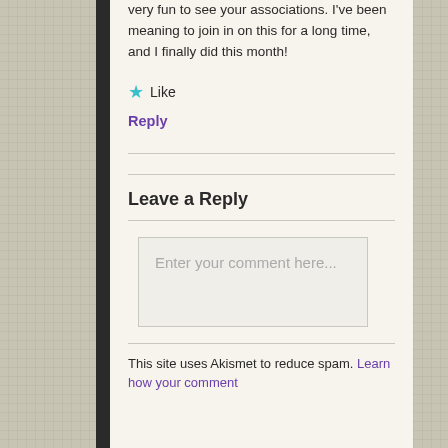very fun to see your associations. I've been meaning to join in on this for a long time, and I finally did this month!
★ Like
Reply
Leave a Reply
[Figure (other): Comment text input box with placeholder text 'Enter your comment here...']
This site uses Akismet to reduce spam. Learn how your comment